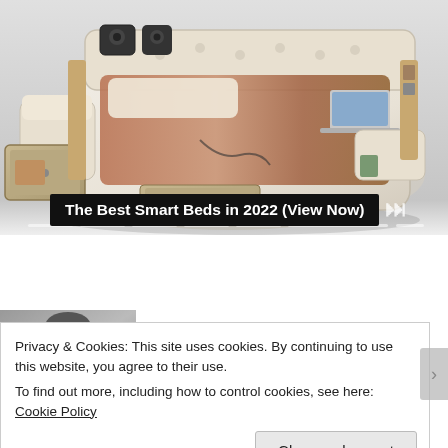[Figure (photo): A luxurious smart bed with multiple features including speakers, storage drawers, massage chair, and laptop tray, shown in cream/beige leather with wood accents on a light gray background. Media player transport controls (previous, pause, next) visible at bottom right. Progress bar segments at bottom.]
The Best Smart Beds in 2022 (View Now)
[Figure (photo): Thumbnail image of a person's face/head partially visible, used as article thumbnail.]
The 5 Books To Read To
Privacy & Cookies: This site uses cookies. By continuing to use this website, you agree to their use.
To find out more, including how to control cookies, see here: Cookie Policy
Close and accept